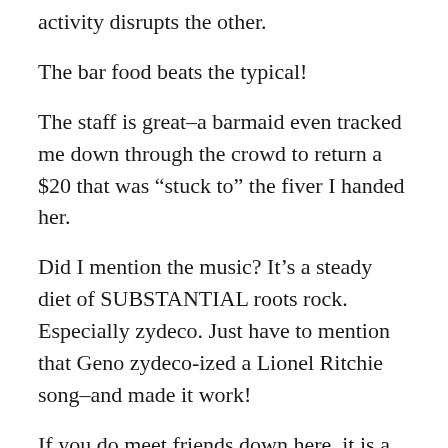activity disrupts the other.
The bar food beats the typical!
The staff is great–a barmaid even tracked me down through the crowd to return a $20 that was “stuck to” the fiver I handed her.
Did I mention the music? It’s a steady diet of SUBSTANTIAL roots rock. Especially zydeco. Just have to mention that Geno zydeco-ized a Lionel Ritchie song–and made it work!
If you do meet friends down here, it is a guaranteed winner. We met two of my former students who happened to be on vacation, too (they are grown, and dating, so it was a pleasure to buy ’em beers and watch ’em dance). Let me let some pics do the rest: